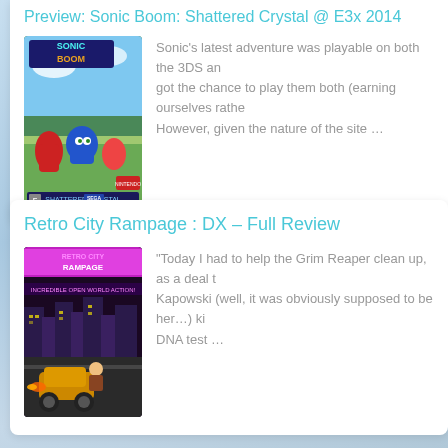Preview: Sonic Boom: Shattered Crystal @ E3x 2014
[Figure (photo): Sonic Boom: Shattered Crystal Nintendo 3DS game box art showing Sonic, Knuckles and other characters]
Sonic's latest adventure was playable on both the 3DS and ... got the chance to play them both (earning ourselves rathe... However, given the nature of the site ...
Retro City Rampage : DX – Full Review
[Figure (photo): Retro City Rampage DX game box art with retro style characters and city scene]
"Today I had to help the Grim Reaper clean up, as a deal t... Kapowski (well, it was obviously supposed to be her...) ki... DNA test ...